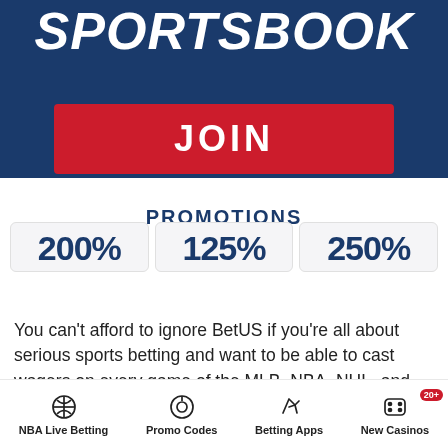[Figure (screenshot): BetUS sportsbook banner with dark blue background showing 'SPORTSBOOK' text in bold white italic font with a red JOIN button below]
PROMOTIONS
[Figure (infographic): Three promotional percentage boxes showing 200%, 125%, and 250%]
You can't afford to ignore BetUS if you're all about serious sports betting and want to be able to cast wagers on every game of the MLB, NBA, NHL, and NFL seasons. For those serious bettors, this Massachusetts sports
NBA Live Betting | Promo Codes | Betting Apps | New Casinos